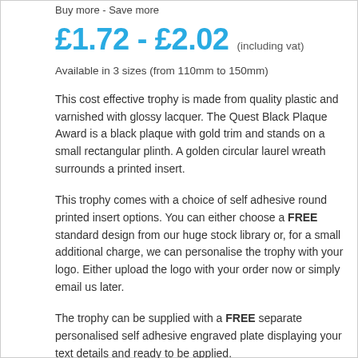Buy more - Save more
£1.72 - £2.02 (including vat)
Available in 3 sizes (from 110mm to 150mm)
This cost effective trophy is made from quality plastic and varnished with glossy lacquer. The Quest Black Plaque Award is a black plaque with gold trim and stands on a small rectangular plinth. A golden circular laurel wreath surrounds a printed insert.
This trophy comes with a choice of self adhesive round printed insert options. You can either choose a FREE standard design from our huge stock library or, for a small additional charge, we can personalise the trophy with your logo. Either upload the logo with your order now or simply email us later.
The trophy can be supplied with a FREE separate personalised self adhesive engraved plate displaying your text details and ready to be applied.